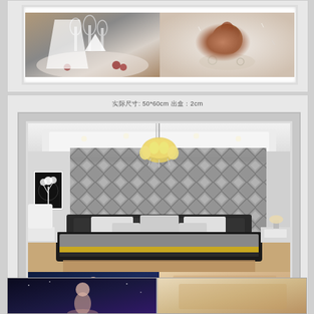[Figure (photo): Two framed photos: left shows a dining table setting with wine glasses and white napkins; right shows a brown rose with decorative rings/jewelry on a light background]
实际尺寸: 50*60cm  出盒：2cm
[Figure (photo): Framed interior room photo showing a modern bedroom with a geometric diamond-pattern 3D wallpaper in gray, a crystal chandelier, a black leather platform bed with gray bedding, and a white armchair]
[Figure (photo): Bottom strip: left image shows a dark blue/purple night scene with a woman figure; right image shows a warm-toned interior or decorative scene]